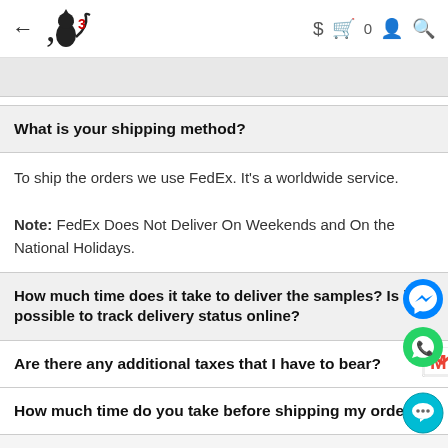← [Logo] $ 🛍 0 👤 🔍
To ship the orders we use FedEx. It's a worldwide service.

Note: FedEx Does Not Deliver On Weekends and On the National Holidays.
What is your shipping method?
How much time does it take to deliver the samples? Is it possible to track delivery status online?
Are there any additional taxes that I have to bear?
How much time do you take before shipping my order?